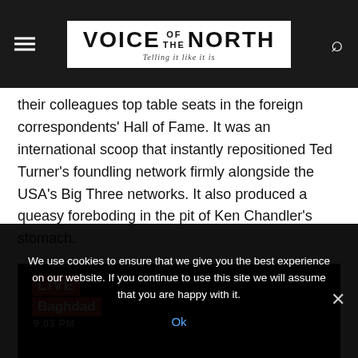VOICE OF THE NORTH — Telling it like it is
their colleagues top table seats in the foreign correspondents' Hall of Fame. It was an international scoop that instantly repositioned Ted Turner's foundling network firmly alongside the USA's Big Three networks. It also produced a queasy foreboding in the pit of Ken Chandler's stomach.
[Figure (screenshot): CNN LIVE from Baghdad, 9:03 PM lower-third graphic on a dark/black video background]
We use cookies to ensure that we give you the best experience on our website. If you continue to use this site we will assume that you are happy with it. Ok